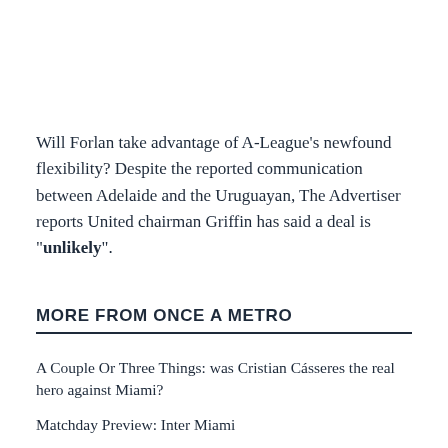Will Forlan take advantage of A-League's newfound flexibility? Despite the reported communication between Adelaide and the Uruguayan, The Advertiser reports United chairman Griffin has said a deal is "unlikely".
MORE FROM ONCE A METRO
A Couple Or Three Things: was Cristian Cásseres the real hero against Miami?
Matchday Preview: Inter Miami
Lower League Round Up: August 21, 2022